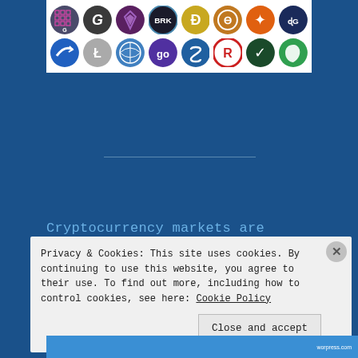[Figure (illustration): A white panel containing two rows of cryptocurrency coin logos including G (grid), G (green), dark gem/diamond, BRK, Dogecoin D, Electra E, orange bug/ant, dG dark blue, blue stream arrow, Litecoin L, globe swirl, go purple, infinity loops, red R circle, dark green checkmark, green leaf]
Cryptocurrency markets are volatile
Privacy & Cookies: This site uses cookies. By continuing to use this website, you agree to their use. To find out more, including how to control cookies, see here: Cookie Policy
Close and accept